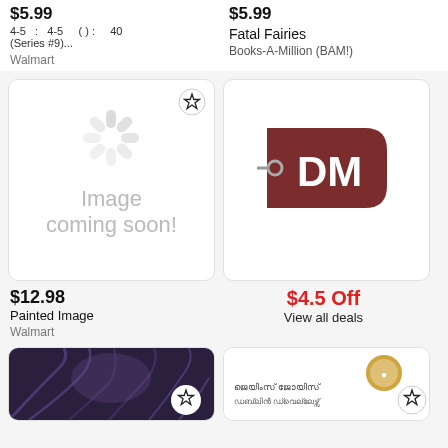$5.99
4-5  :  4-5    ( ) :    40
(Series #9)...
$5.99
Fatal Fairies
Books-A-Million (BAM!)
Walmart
[Figure (screenshot): Product card with 'Image coming soon' placeholder (Walmart spinner icon) and star bookmark button]
$12.98
Painted Image
Walmart
[Figure (logo): DM (Dollar/Deals) logo - dark red price tag shape with DM text]
$4.5 Off
View all deals
[Figure (photo): Dark fantasy/horror book cover with tree branches]
[Figure (screenshot): Book listing with Malayalam text and circular logo, star bookmark button]